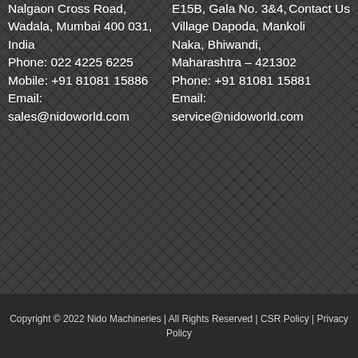Nalgaon Cross Road, Wadala, Mumbai 400 031, India
Phone: 022 4225 6225
Mobile: +91 81081 15886
Email: sales@nidoworld.com
E15B, Gala No. 3&4, Village Dapoda, Mankoli Naka, Bhiwandi, Maharashtra – 421302
Phone: +91 81081 15881
Email: service@nidoworld.com
Contact Us
Copyright © 2022 Nido Machineries | All Rights Reserved | CSR Policy | Privacy Policy